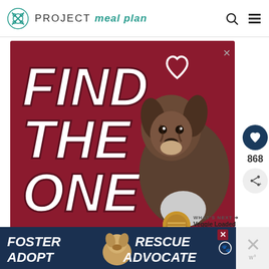PROJECT meal plan
[Figure (photo): Advertisement with dark red background showing text 'FIND THE ONE' in large white italic bold letters with a brindle puppy on the right side and a heart outline in the top right corner. Close button (X) in top right.]
868
WHAT'S NEXT → Veggie Loaded Rotisserie...
[Figure (photo): Advertisement on dark navy background with text 'FOSTER ADOPT' on left and 'RESCUE ADVOCATE' on right, with a beagle dog image in the middle. Has a close button.]